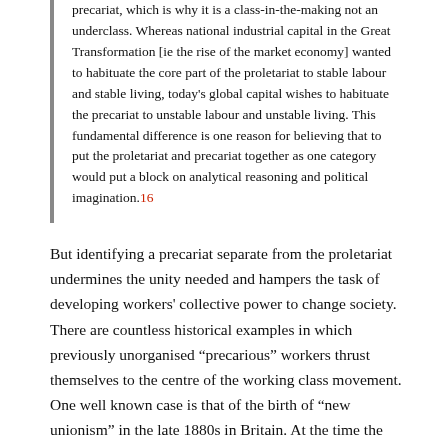precariat, which is why it is a class-in-the-making not an underclass. Whereas national industrial capital in the Great Transformation [ie the rise of the market economy] wanted to habituate the core part of the proletariat to stable labour and stable living, today's global capital wishes to habituate the precariat to unstable labour and unstable living. This fundamental difference is one reason for believing that to put the proletariat and precariat together as one category would put a block on analytical reasoning and political imagination.16
But identifying a precariat separate from the proletariat undermines the unity needed and hampers the task of developing workers' collective power to change society. There are countless historical examples in which previously unorganised "precarious" workers thrust themselves to the centre of the working class movement. One well known case is that of the birth of "new unionism" in the late 1880s in Britain. At the time the